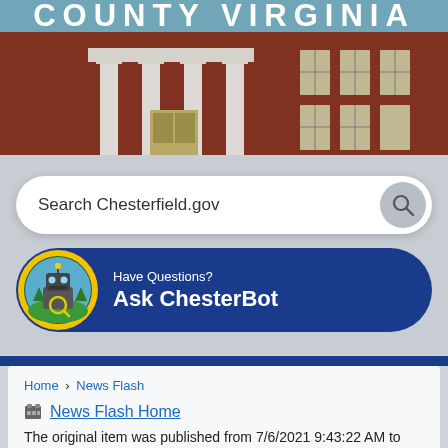[Figure (photo): Chesterfield County Virginia government building header photo with brick facade and white columns, with 'COUNTY VIRGINIA' text overlay]
Search Chesterfield.gov
[Figure (infographic): ChesterBot banner with robot mascot logo on dark blue rounded pill background reading 'Have Questions? Ask ChesterBot']
Home › News Flash
News Flash Home
The original item was published from 7/6/2021 9:43:22 AM to 7/7/2022 12:00:01 AM.